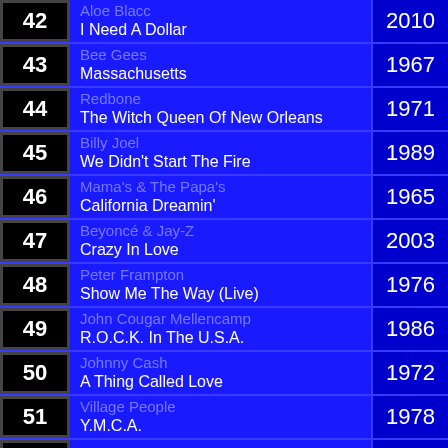42 | Aloe Blacc - I Need A Dollar | 2010
43 | Bee Gees - Massachusetts | 1967
44 | Redbone - The Witch Queen Of New Orleans | 1971
45 | Billy Joel - We Didn't Start The Fire | 1989
46 | Mama's & The Papa's - California Dreamin' | 1965
47 | Beyoncé & Jay-Z - Crazy In Love | 2003
48 | Peter Frampton - Show Me The Way (Live) | 1976
49 | John Cougar Mellencamp - R.O.C.K. In The U.S.A. | 1986
50 | Johnny Cash - A Thing Called Love | 1972
51 | Village People - Y.M.C.A. | 1978
52 | Don McLean | 1972